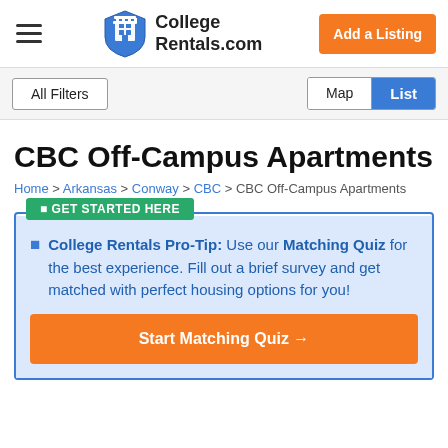College Rentals.com | Add a Listing
All Filters | Map | List
CBC Off-Campus Apartments
Home > Arkansas > Conway > CBC > CBC Off-Campus Apartments
GET STARTED HERE
College Rentals Pro-Tip: Use our Matching Quiz for the best experience. Fill out a brief survey and get matched with perfect housing options for you!
Start Matching Quiz →